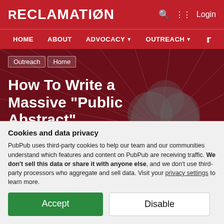RECLAMATION
HOME   ABOUT   ADVOCACY   OUTREACH   Twitter
Outreach   Home
How To Write a Massive "Public Abstract"
Learn how to write a "public abstract" – a version of your paper or a paper in your field geared towards mass audiences
by Gabriel Stein
Cookies and data privacy

PubPub uses third-party cookies to help our team and our communities understand which features and content on PubPub are receiving traffic. We don't sell this data or share it with anyone else, and we don't use third-party processors who aggregate and sell data. Visit your privacy settings to learn more.

Accept   Disable
This is intended to be a loose guide for